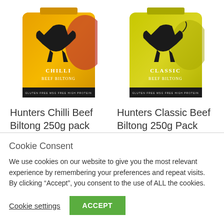[Figure (photo): Orange bag of Hunters Chilli Beef Biltong 250g with black bull illustration]
Hunters Chilli Beef Biltong 250g pack
£9.99
[Figure (photo): Yellow-green bag of Hunters Classic Beef Biltong 250g with black bull illustration]
Hunters Classic Beef Biltong 250g Pack
£9.99
[Figure (photo): Partial view of green and blue product packaging at bottom of page]
Cookie Consent
We use cookies on our website to give you the most relevant experience by remembering your preferences and repeat visits. By clicking “Accept”, you consent to the use of ALL the cookies.
Cookie settings
ACCEPT